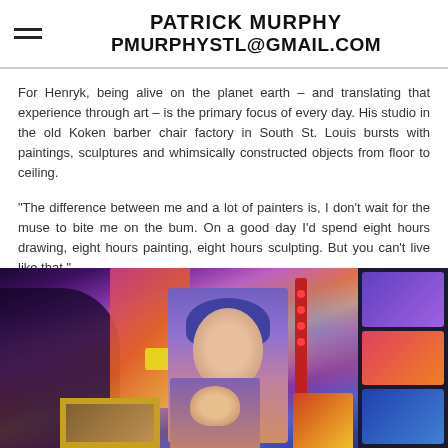PATRICK MURPHY
PMURPHYSTL@GMAIL.COM
For Henryk, being alive on the planet earth – and translating that experience through art – is the primary focus of every day.  His studio in the old Koken barber chair factory in South St. Louis bursts with  paintings, sculptures and whimsically constructed objects from floor to ceiling.
“The difference between me and a lot of painters is, I don’t wait for the muse to bite me on the bum.  On a good day I’d spend eight hours drawing, eight hours painting, eight hours sculpting.  But you can’t live like that.”
[Figure (photo): Photo of an art studio filled with colorful paintings and sculptures, with a person visible on the left side among numerous artworks including portraits and abstract pieces displayed from floor to ceiling.]